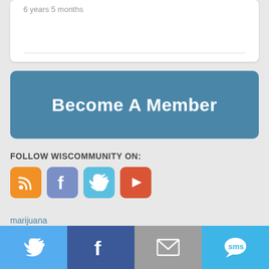6 years 5 months
[Figure (other): Become A Member button — blue rounded rectangle with white bold text]
FOLLOW WISCOMMUNITY ON:
[Figure (other): Social media icons: RSS (orange), Facebook (blue-grey), Twitter (light blue), YouTube (red-orange)]
marijuana
Governor Tony Evers
[Figure (other): Share bar with Twitter, Facebook, Email, and SMS buttons]